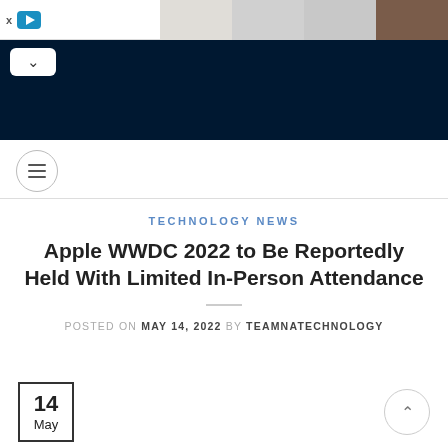[Figure (screenshot): Ad bar with close/play icons on left and watch product images on right]
[Figure (screenshot): Dark navy navigation bar with white back arrow button]
[Figure (other): Hamburger menu circle icon]
TECHNOLOGY NEWS
Apple WWDC 2022 to Be Reportedly Held With Limited In-Person Attendance
POSTED ON MAY 14, 2022 BY TEAMNATECHNOLOGY
[Figure (other): Date box showing 14 May and scroll-to-top circle button]